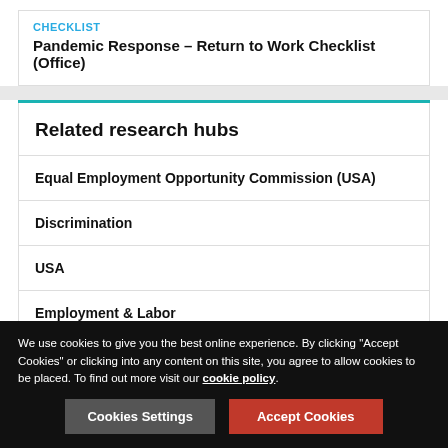CHECKLIST
Pandemic Response – Return to Work Checklist (Office)
Related research hubs
Equal Employment Opportunity Commission (USA)
Discrimination
USA
Employment & Labor
We use cookies to give you the best online experience. By clicking "Accept Cookies" or clicking into any content on this site, you agree to allow cookies to be placed. To find out more visit our cookie policy.